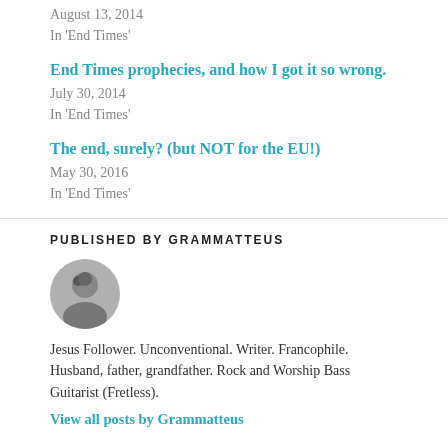August 13, 2014
In 'End Times'
End Times prophecies, and how I got it so wrong.
July 30, 2014
In 'End Times'
The end, surely? (but NOT for the EU!)
May 30, 2016
In 'End Times'
PUBLISHED BY GRAMMATTEUS
[Figure (photo): Circular avatar photo of a person (Grammatteus) in black and white]
Jesus Follower. Unconventional. Writer. Francophile. Husband, father, grandfather. Rock and Worship Bass Guitarist (Fretless).
View all posts by Grammatteus